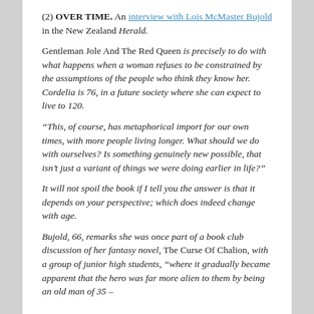(2) OVER TIME. An interview with Lois McMaster Bujold in the New Zealand Herald.
Gentleman Jole And The Red Queen is precisely to do with what happens when a woman refuses to be constrained by the assumptions of the people who think they know her. Cordelia is 76, in a future society where she can expect to live to 120.
“This, of course, has metaphorical import for our own times, with more people living longer. What should we do with ourselves? Is something genuinely new possible, that isn’t just a variant of things we were doing earlier in life?”
It will not spoil the book if I tell you the answer is that it depends on your perspective; which does indeed change with age.
Bujold, 66, remarks she was once part of a book club discussion of her fantasy novel, The Curse Of Chalion, with a group of junior high students, “where it gradually became apparent that the hero was far more alien to them by being an old man of 35 –